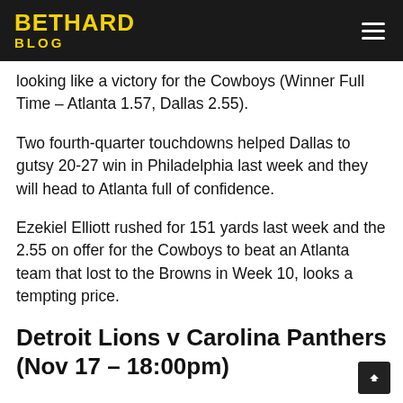BETHARD BLOG
looking like a victory for the Cowboys (Winner Full Time – Atlanta 1.57, Dallas 2.55).
Two fourth-quarter touchdowns helped Dallas to gutsy 20-27 win in Philadelphia last week and they will head to Atlanta full of confidence.
Ezekiel Elliott rushed for 151 yards last week and the 2.55 on offer for the Cowboys to beat an Atlanta team that lost to the Browns in Week 10, looks a tempting price.
Detroit Lions v Carolina Panthers (Nov 17 – 18:00pm)